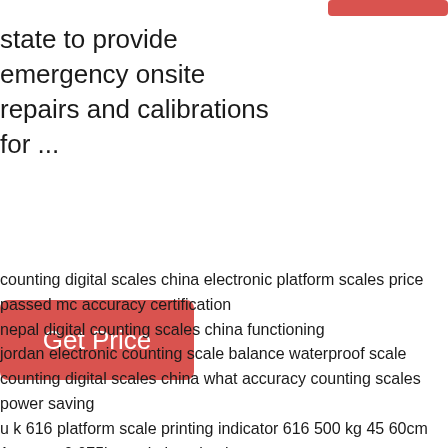[Figure (other): Red button/banner at top right corner]
state to provide emergency onsite repairs and calibrations for ...
[Figure (other): Red 'Get Price' button]
counting digital scales china electronic platform scales price passed mc accuracy certification
nepal digital counting scales china functioning
jordan electronic counting scale balance waterproof scale
counting digital scales china what accuracy counting scales power saving
u k 616 platform scale printing indicator 616 500 kg 45 60cm
1pcs ctn 0.075bm aviation aluminum sensor